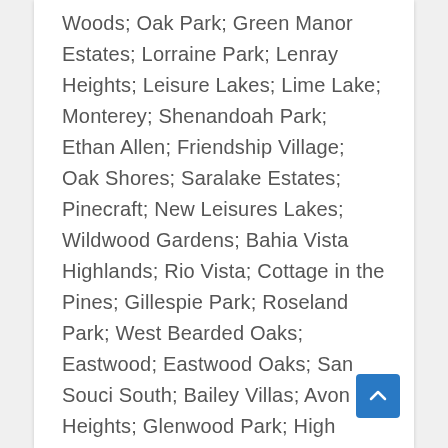Woods; Oak Park; Green Manor Estates; Lorraine Park; Lenray Heights; Leisure Lakes; Lime Lake; Monterey; Shenandoah Park; Ethan Allen; Friendship Village; Oak Shores; Saralake Estates; Pinecraft; New Leisures Lakes; Wildwood Gardens; Bahia Vista Highlands; Rio Vista; Cottage in the Pines; Gillespie Park; Roseland Park; West Bearded Oaks; Eastwood; Eastwood Oaks; San Souci South; Bailey Villas; Avon Heights; Glenwood Park; High Point Circle; Oaks at Woodland Park; Homecroft; Lockwood Meadows; Lords Town of Sarasota; Montrose; Avondale; Central Park; Inwood Park; Golf Course Heights; Rustic Lodge; Highland Park; Alfred Park; Lynnhurst; Hyde Park Heights; Loma Linda Park; La Linda Terrace; Washington Center; Payne Park; Hudson Harbor; Mooring at Bay Pointe; Laurel Park; Bay Point; Strongs Point; Bungalow Hill; Grosvenor Park; Devonshire Park; Nottingham; The